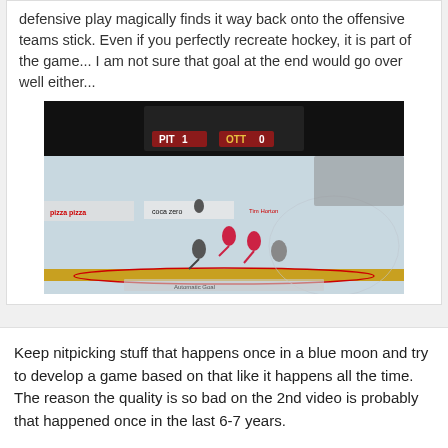defensive play magically finds it way back onto the offensive teams stick. Even if you perfectly recreate hockey, it is part of the game... I am not sure that goal at the end would go over well either...
[Figure (photo): Screenshot of a hockey game broadcast showing players on ice rink. Scoreboard visible showing PIT vs OTT. Advertisements for pizza pizza and Coca-Cola Zero visible on boards.]
Keep nitpicking stuff that happens once in a blue moon and try to develop a game based on that like it happens all the time. The reason the quality is so bad on the 2nd video is probably that happened once in the last 6-7 years.